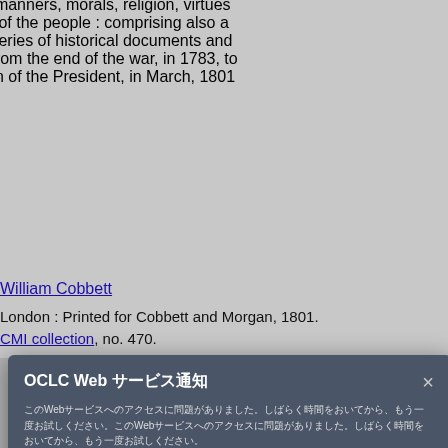, manners, morals, religion, virtues s of the people : comprising also a series of historical documents and from the end of the war, in 1783, to on of the President, in March, 1801
William Cobbett
London : Printed for Cobbett and Morgan, 1801.
CMI collection, no. 470.
Microfiche : English
United States -- History -- Constitutional period, 1789-1809.
United States -- Politics and government -- 1789-1809.
États-Unis -- Histoire -- 1789-1809 (Période constitutionnelle)
OCLC Web サービス通知
このWeb サービスへのアクセスに問題がありました。しばらく時間をおいてから、もう一度お試しください。
引き続き問題が発生する場合は、サポートチームにご連絡ください。